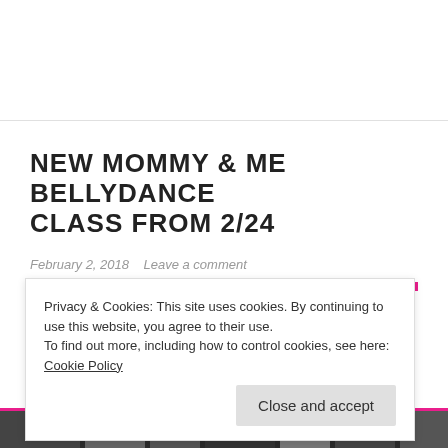NEW MOMMY & ME BELLYDANCE CLASS FROM 2/24
February 2, 2018   Leave a comment
Privacy & Cookies: This site uses cookies. By continuing to use this website, you agree to their use.
To find out more, including how to control cookies, see here: Cookie Policy
Close and accept
[Figure (photo): Bottom strip showing a black and white photo of people dancing]